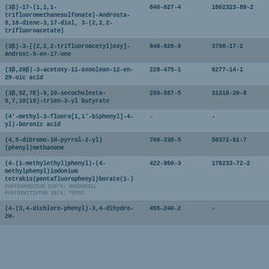| Name | EC Number | CAS Number |
| --- | --- | --- |
| (3β)-17-(1,1,1-trifluoromethanesulfonate)-Androsta-5,16-diene-3,17-diol, 3-(2,2,2-trifluoroacetate) | 840-627-4 | 1802323-89-2 |
| (3β)-3-[(2,2,2-trifluoroacetyl)oxy]-Androst-5-en-17-one | 840-626-9 | 3798-17-2 |
| (3β,20β)-3-acetoxy-11-oxoolean-12-en-29-oic acid | 228-475-1 | 6277-14-1 |
| (3β,5Z,7E)-9,10-secocholesta-5,7,10(19)-trien-3-yl butyrate | 250-567-5 | 31316-20-8 |
| (4'-methyl-3-fluoro[1,1'-biphenyl]-4-yl)-boronic acid | - | - |
| (4,5-dibromo-1H-pyrrol-2-yl)(phenyl)methanone | 700-338-5 | 50372-61-7 |
| (4-(1-methylethyl)phenyl)-(4-methylphenyl)iodonium tetrakis(pentafluorophenyl)borate(1-) [PHOTOAMORCEUR 22074; RHODORSIL PHOTOINITIATOR 2074; TEPBI] | 422-960-3 | 178233-72-2 |
| (4-(3,4-dichloro-phenyl)-3,4-dihydro-2H- | 455-240-2 | - |